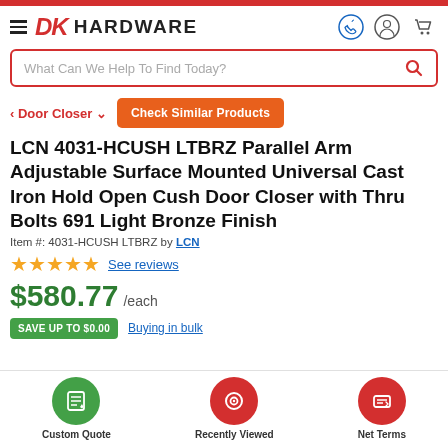[Figure (screenshot): DK Hardware website top navigation bar with logo, search bar, and breadcrumb navigation]
LCN 4031-HCUSH LTBRZ Parallel Arm Adjustable Surface Mounted Universal Cast Iron Hold Open Cush Door Closer with Thru Bolts 691 Light Bronze Finish
Item #: 4031-HCUSH LTBRZ by LCN
★★★★★ See reviews
$580.77 /each
SAVE UP TO $0.00  Buying in bulk
[Figure (infographic): Bottom navigation bar with Custom Quote, Recently Viewed, and Net Terms buttons]